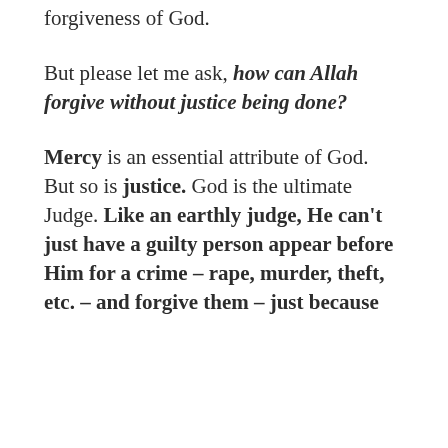forgiveness of God.
But please let me ask, how can Allah forgive without justice being done?
Mercy is an essential attribute of God. But so is justice. God is the ultimate Judge. Like an earthly judge, He can't just have a guilty person appear before Him for a crime – rape, murder, theft, etc. – and forgive them – just because